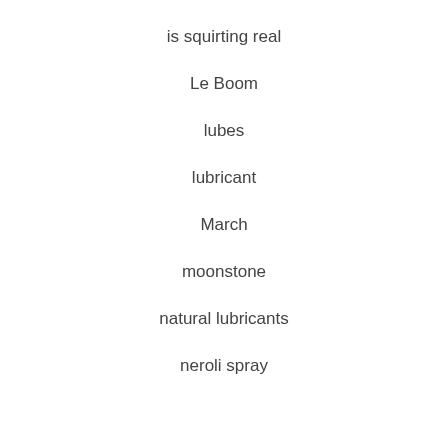is squirting real
Le Boom
lubes
lubricant
March
moonstone
natural lubricants
neroli spray